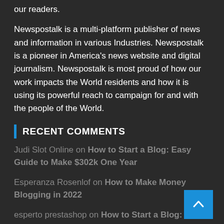our readers.
Newspostalk is a multi-platform publisher of news and information in various Industries. Newspostalk is a pioneer in America's news website and digital journalism. Newspostalk is most proud of how our work impacts the World residents and how it is using its powerful reach to campaign for and with the people of the World.
RECENT COMMENTS
Judi Slot Online on How to Start a Blog: Easy Guide to Make $302k One Year
Esperanza Rosenlof on How to Make Money Blogging in 2022
esperto prestashop on How to Start a Blog: Easy Guide to Make $302k One Year